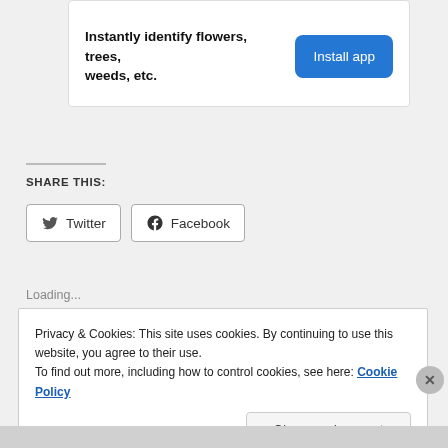Instantly identify flowers, trees, weeds, etc.
Install app
SHARE THIS:
Twitter
Facebook
Loading...
Privacy & Cookies: This site uses cookies. By continuing to use this website, you agree to their use.
To find out more, including how to control cookies, see here: Cookie Policy
Close and accept